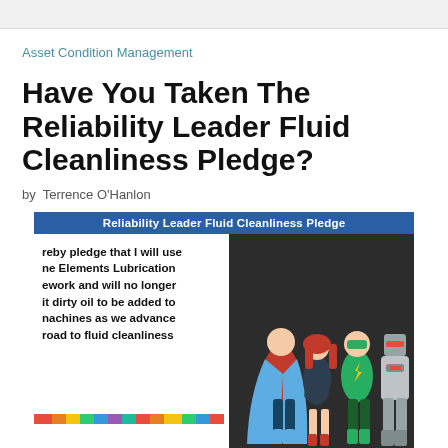Asset Condition Management
Have You Taken The Reliability Leader Fluid Cleanliness Pledge?
by Terrence O'Hanlon
[Figure (illustration): Illustration showing a pledge panel titled 'Reliability Leader Fluid Cleanliness Pledge' with partial text reading: 'hereby pledge that I will use the Elements Lubrication framework and will no longer it dirty oil to be added to machines as we advance road to fluid cleanliness', alongside cartoon superhero figures with a speech bubble saying 'I love the Reliability Leader fluid cleanliness pledge']